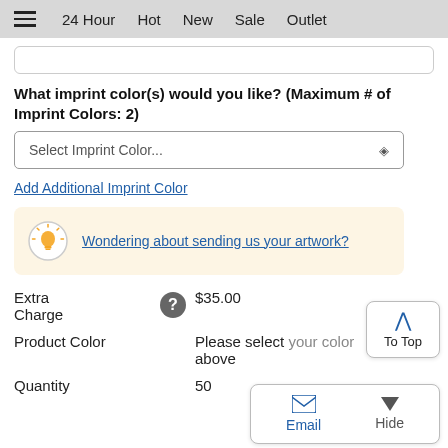24 Hour  Hot  New  Sale  Outlet
What imprint color(s) would you like? (Maximum # of Imprint Colors: 2)
Select Imprint Color...
Add Additional Imprint Color
Wondering about sending us your artwork?
Extra Charge  $35.00
Product Color  Please select your color above
Quantity  50